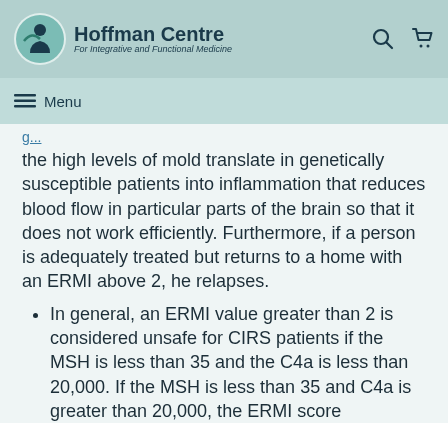Hoffman Centre For Integrative and Functional Medicine
the high levels of mold translate in genetically susceptible patients into inflammation that reduces blood flow in particular parts of the brain so that it does not work efficiently. Furthermore, if a person is adequately treated but returns to a home with an ERMI above 2, he relapses.
In general, an ERMI value greater than 2 is considered unsafe for CIRS patients if the MSH is less than 35 and the C4a is less than 20,000. If the MSH is less than 35 and C4a is greater than 20,000, the ERMI score